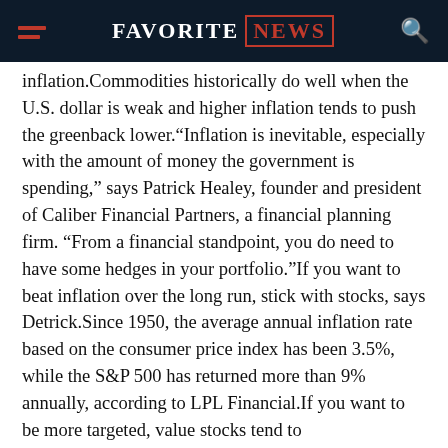FAVORITE NEWS
inflation.Commodities historically do well when the U.S. dollar is weak and higher inflation tends to push the greenback lower.“Inflation is inevitable, especially with the amount of money the government is spending,” says Patrick Healey, founder and president of Caliber Financial Partners, a financial planning firm. “From a financial standpoint, you do need to have some hedges in your portfolio.”If you want to beat inflation over the long run, stick with stocks, says Detrick.Since 1950, the average annual inflation rate based on the consumer price index has been 3.5%, while the S&P 500 has returned more than 9% annually, according to LPL Financial.If you want to be more targeted, value stocks tend to